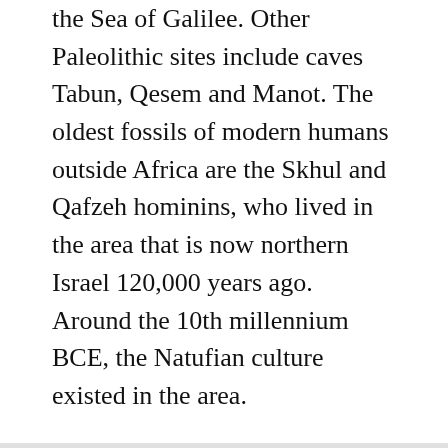the Sea of Galilee. Other Paleolithic sites include caves Tabun, Qesem and Manot. The oldest fossils of modern humans outside Africa are the Skhul and Qafzeh hominins, who lived in the area that is now northern Israel 120,000 years ago. Around the 10th millennium BCE, the Natufian culture existed in the area.
ANTIQUITY
THE LAND
THE GOVERNMENT